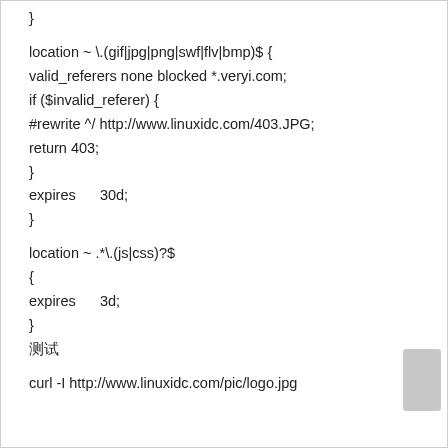}
location ~ \.(gif|jpg|png|swf|flv|bmp)$ {
valid_referers none blocked *.veryi.com;
if ($invalid_referer) {
#rewrite ^/ http://www.linuxidc.com/403.JPG;
return 403;
}
expires       30d;
}
location ~ .*\.(js|css)?$
{
expires       3d;
}
测试
curl -I http://www.linuxidc.com/pic/logo.jpg